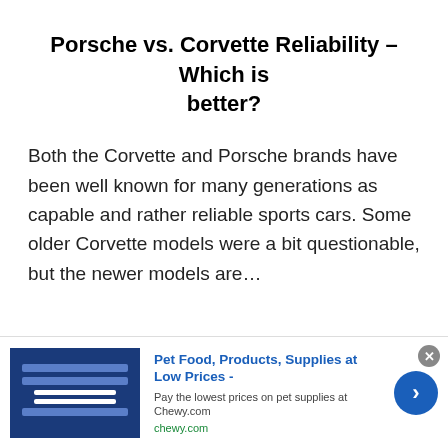Porsche vs. Corvette Reliability – Which is better?
Both the Corvette and Porsche brands have been well known for many generations as capable and rather reliable sports cars. Some older Corvette models were a bit questionable, but the newer models are...
[Figure (other): Advertisement banner for Chewy.com pet food and supplies with logo image, headline text, sub-text, website URL, close button, and navigation arrow.]